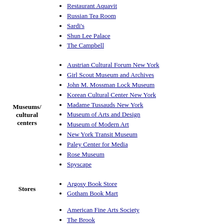Restaurant Aquavit
Russian Tea Room
Sardi's
Shun Lee Palace
The Campbell
Museums/ cultural centers
Austrian Cultural Forum New York
Girl Scout Museum and Archives
John M. Mossman Lock Museum
Korean Cultural Center New York
Madame Tussauds New York
Museum of Arts and Design
Museum of Modern Art
New York Transit Museum
Paley Center for Media
Rose Museum
Spyscape
Stores
Argosy Book Store
Gotham Book Mart
American Fine Arts Society
The Brook
Century Association
Columbia University Club of New York